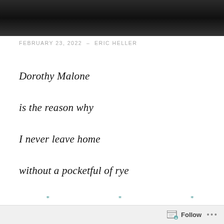[Figure (photo): Black and white photo of people, cropped at top of page]
FEBRUARY 23, 2022  –  ERIC HELLER
Dorothy Malone
is the reason why
I never leave home
without a pocketful of rye
* * *
Let's get this straight. Two complete strangers – a fattish
Follow ...